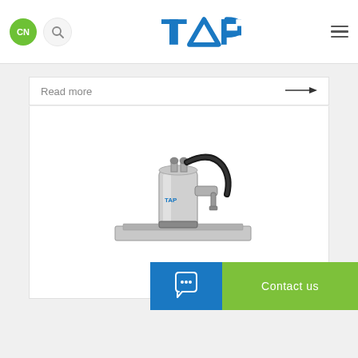TAP — CN | Search | Menu
Read more →
[Figure (photo): Industrial spray or suction device mounted on a metal base plate, with black hose and blue TAP logo, silver metallic cylindrical body with nozzle attachments.]
Contact us